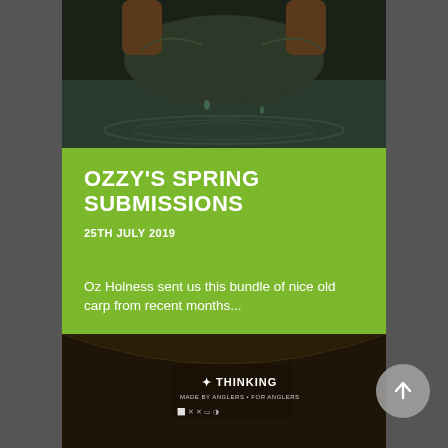[Figure (photo): A person holding a large carp fish over water, shot from below looking up, with ripples visible in the water background.]
OZZY'S SPRING SUBMISSIONS
25TH JULY 2019
Oz Holness sent us this bundle of nice old carp from recent months...
READ MORE
[Figure (photo): Close-up of a dark brown t-shirt collar label area showing THINKING MADE BY ANGLERS • FOR ANGLERS branding with laundry care symbols.]